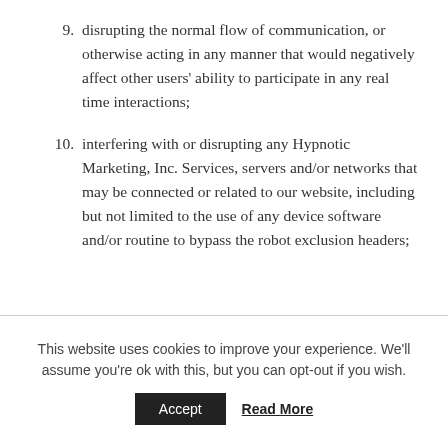9. disrupting the normal flow of communication, or otherwise acting in any manner that would negatively affect other users' ability to participate in any real time interactions;
10. interfering with or disrupting any Hypnotic Marketing, Inc. Services, servers and/or networks that may be connected or related to our website, including but not limited to the use of any device software and/or routine to bypass the robot exclusion headers;
This website uses cookies to improve your experience. We'll assume you're ok with this, but you can opt-out if you wish.